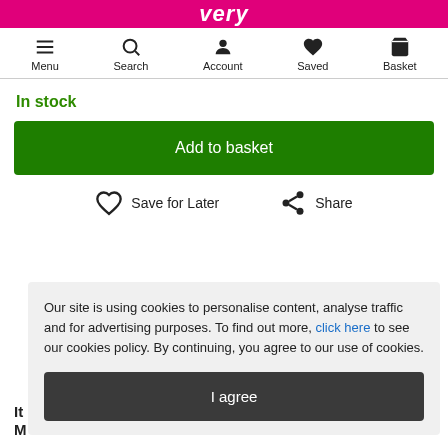very
[Figure (screenshot): Navigation bar with Menu, Search, Account, Saved, Basket icons]
In stock
Add to basket
Save for Later
Share
Our site is using cookies to personalise content, analyse traffic and for advertising purposes. To find out more, click here to see our cookies policy. By continuing, you agree to our use of cookies.
I agree
It
M